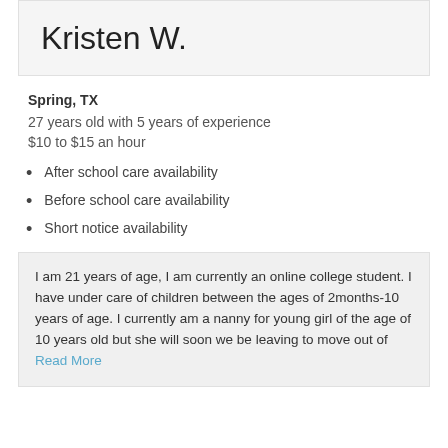Kristen W.
Spring, TX
27 years old with 5 years of experience
$10 to $15 an hour
After school care availability
Before school care availability
Short notice availability
I am 21 years of age, I am currently an online college student. I have under care of children between the ages of 2months-10 years of age. I currently am a nanny for young girl of the age of 10 years old but she will soon we be leaving to move out of Read More